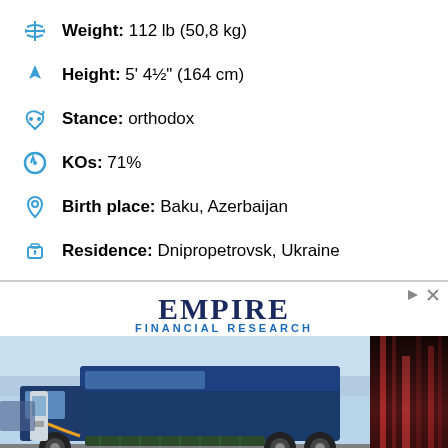Weight: 112 lb (50,8 kg)
Height: 5' 4½" (164 cm)
Stance: orthodox
KOs: 71%
Birth place: Baku, Azerbaijan
Residence: Dnipropetrovsk, Ukraine
[Figure (advertisement): Empire Financial Research advertisement with logo and electric truck charging image]